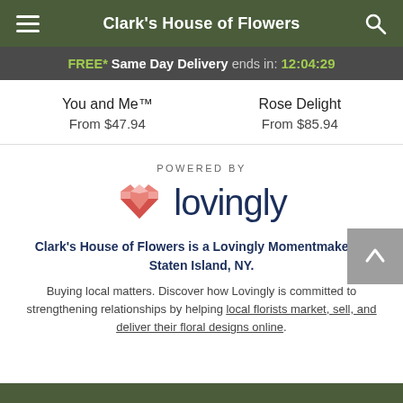Clark's House of Flowers
FREE* Same Day Delivery ends in: 12:04:29
You and Me™
From $47.94
Rose Delight
From $85.94
[Figure (logo): Lovingly logo with pink/red heart icon and dark blue 'lovingly' wordmark]
POWERED BY
Clark's House of Flowers is a Lovingly Momentmaker in Staten Island, NY.
Buying local matters. Discover how Lovingly is committed to strengthening relationships by helping local florists market, sell, and deliver their floral designs online.